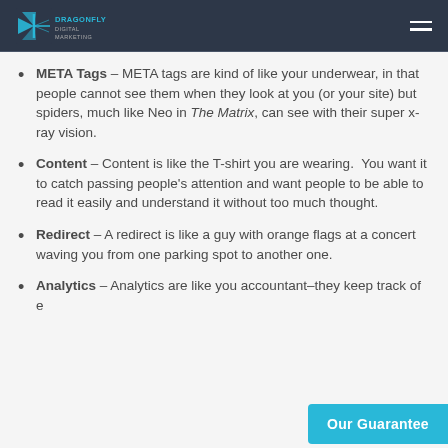Dragonfly Digital Marketing
META Tags – META tags are kind of like your underwear, in that people cannot see them when they look at you (or your site) but spiders, much like Neo in The Matrix, can see with their super x-ray vision.
Content – Content is like the T-shirt you are wearing.  You want it to catch passing people's attention and want people to be able to read it easily and understand it without too much thought.
Redirect – A redirect is like a guy with orange flags at a concert waving you from one parking spot to another one.
Analytics – Analytics are like you accountant–they keep track of e…